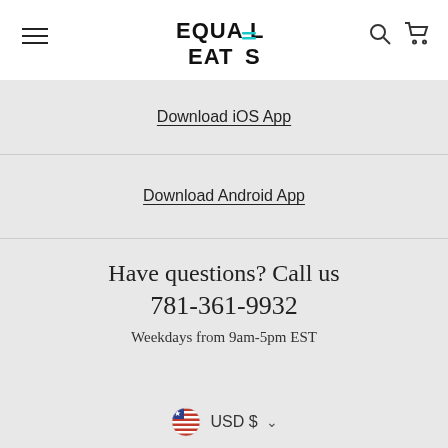[Figure (logo): Equal Eats logo with teal accent lines]
Download iOS App
Download Android App
Have questions? Call us
781-361-9932
Weekdays from 9am-5pm EST
USD $